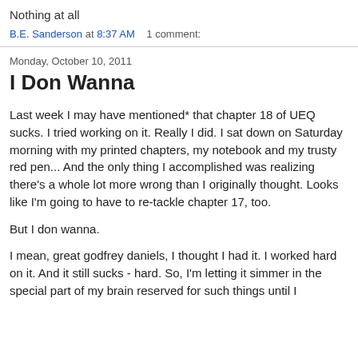Nothing at all
B.E. Sanderson at 8:37 AM    1 comment:
Monday, October 10, 2011
I Don Wanna
Last week I may have mentioned* that chapter 18 of UEQ sucks.  I tried working on it.  Really I did.  I sat down on Saturday morning with my printed chapters, my notebook and my trusty red pen...  And the only thing I accomplished was realizing there's a whole lot more wrong than I originally thought.  Looks like I'm going to have to re-tackle chapter 17, too.
But I don wanna.
I mean, great godfrey daniels, I thought I had it.  I worked hard on it.  And it still sucks - hard.  So, I'm letting it simmer in the special part of my brain reserved for such things until I